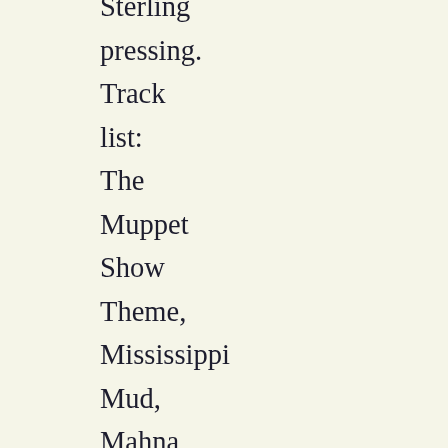Sterling pressing. Track list: The Muppet Show Theme, Mississippi Mud, Mahna Mahna, The Great Gonzo Eats A Rubber Tire To The Flight Of The Bumble B...